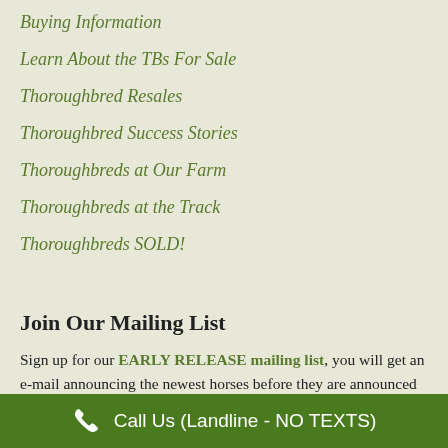Buying Information
Learn About the TBs For Sale
Thoroughbred Resales
Thoroughbred Success Stories
Thoroughbreds at Our Farm
Thoroughbreds at the Track
Thoroughbreds SOLD!
Join Our Mailing List
Sign up for our EARLY RELEASE mailing list, you will get an e-mail announcing the newest horses before they are announced publicly. We will never share your information.
Call Us (Landline - NO TEXTS)